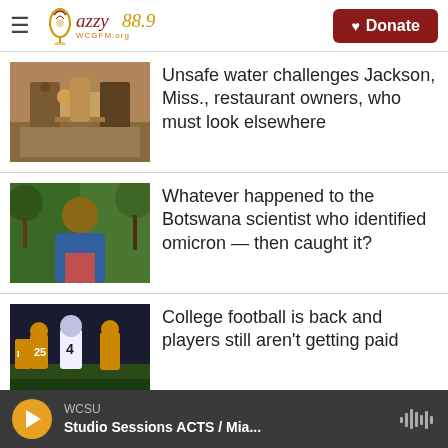Jazzy 88.9 WCGFM.org — Donate
[Figure (photo): Two people at a restaurant table with food and drinks]
Unsafe water challenges Jackson, Miss., restaurant owners, who must look elsewhere
[Figure (photo): Man in blue suit smiling outdoors with trees in background]
Whatever happened to the Botswana scientist who identified omicron — then caught it?
[Figure (photo): College football players on field, player wearing jersey number 4]
College football is back and players still aren't getting paid
WCSU — Studio Sessions ACTS / Mia...